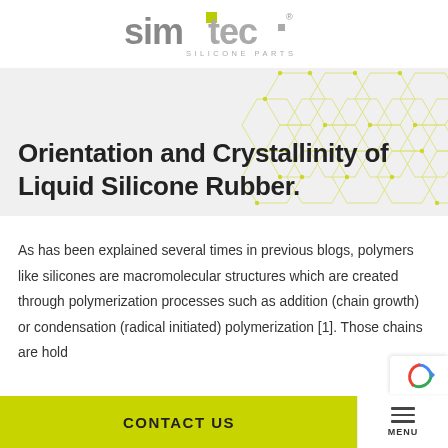[Figure (logo): Simtec Silicone Parts logo — stylized 'simtec' wordmark with green square accent and tagline 'SILICONE PARTS']
Orientation and Crystallinity of Liquid Silicone Rubber.
As has been explained several times in previous blogs, polymers like silicones are macromolecular structures which are created through polymerization processes such as addition (chain growth) or condensation (radical initiated) polymerization [1]. Those chains are hold
CONTACT US
MENU